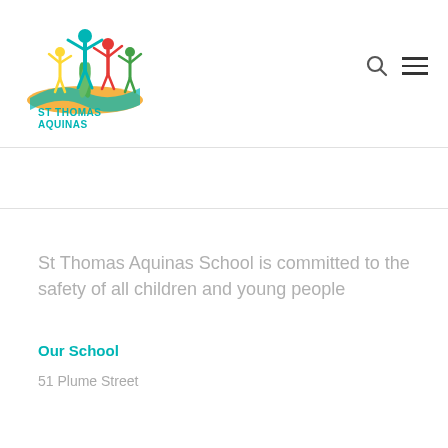[Figure (logo): St Thomas Aquinas Primary School logo with colorful figures of children and adults with arms raised, on an orange wave, with teal text]
St Thomas Aquinas School is committed to the safety of all children and young people
Our School
51 Plume Street